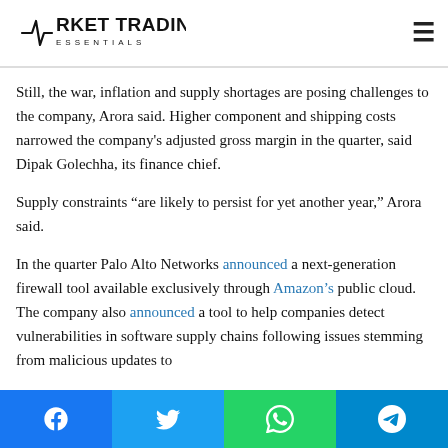Market Trading Essentials
Still, the war, inflation and supply shortages are posing challenges to the company, Arora said. Higher component and shipping costs narrowed the company's adjusted gross margin in the quarter, said Dipak Golechha, its finance chief.
Supply constraints “are likely to persist for yet another year,” Arora said.
In the quarter Palo Alto Networks announced a next-generation firewall tool available exclusively through Amazon’s public cloud. The company also announced a tool to help companies detect vulnerabilities in software supply chains following issues stemming from malicious updates to
Facebook Twitter WhatsApp Telegram